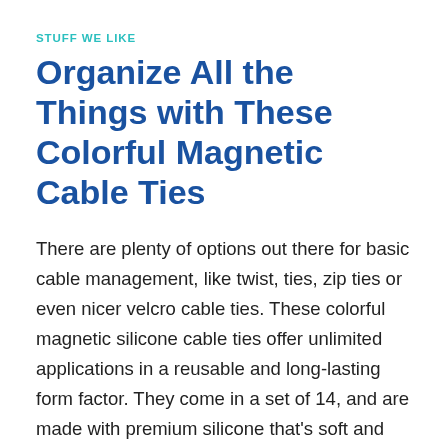STUFF WE LIKE
Organize All the Things with These Colorful Magnetic Cable Ties
There are plenty of options out there for basic cable management, like twist, ties, zip ties or even nicer velcro cable ties. These colorful magnetic silicone cable ties offer unlimited applications in a reusable and long-lasting form factor. They come in a set of 14, and are made with premium silicone that's soft and stretchy, so they're easy to pull to the exact size you need. The magnetic ends, shaped like stars, connect and seal cleanly. You